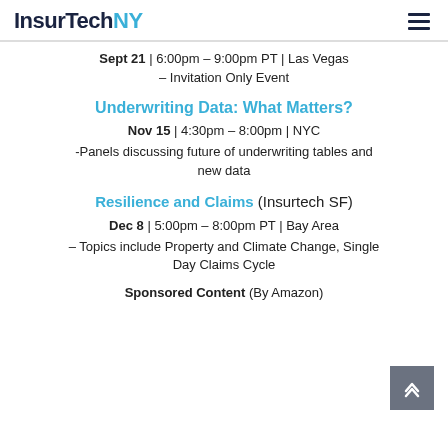InsurTechNY
Sept 21 | 6:00pm – 9:00pm PT | Las Vegas – Invitation Only Event
Underwriting Data: What Matters?
Nov 15 | 4:30pm – 8:00pm | NYC
-Panels discussing future of underwriting tables and new data
Resilience and Claims (Insurtech SF)
Dec 8 | 5:00pm – 8:00pm PT | Bay Area
– Topics include Property and Climate Change, Single Day Claims Cycle
Sponsored Content (By Amazon)